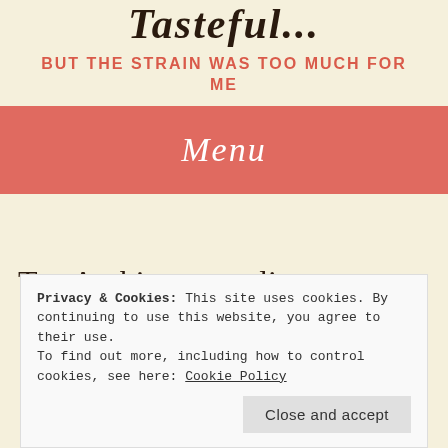Tasteful...
BUT THE STRAIN WAS TOO MUCH FOR ME
Menu
Tag Archives: acrylic
Privacy & Cookies: This site uses cookies. By continuing to use this website, you agree to their use.
To find out more, including how to control cookies, see here: Cookie Policy
Close and accept